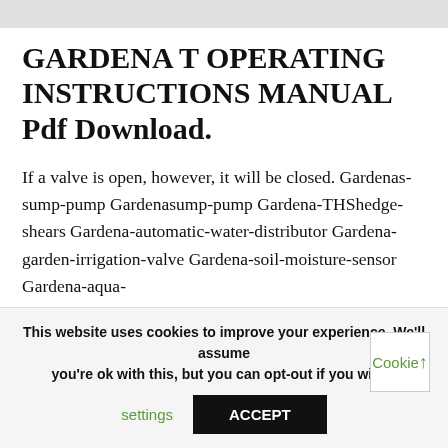GARDENA T OPERATING INSTRUCTIONS MANUAL Pdf Download.
If a valve is open, however, it will be closed. Gardenas-sump-pump Gardenasump-pump Gardena-THShedge-shears Gardena-automatic-water-distributor Gardena-garden-irrigation-valve Gardena-soil-moisture-sensor Gardena-aqua-
This website uses cookies to improve your experience. We'll assume you're ok with this, but you can opt-out if you wish. Cookie settings ACCEPT